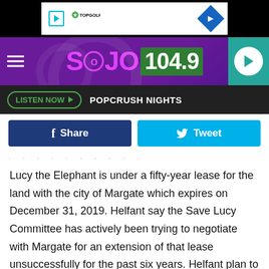[Figure (screenshot): TopGolf advertisement banner at top of page]
[Figure (logo): SoJO 104.9 radio station header with purple background, hamburger menu, and play button]
LISTEN NOW ▶  POPCRUSH NIGHTS
f Share    Tweet
Lucy the Elephant is under a fifty-year lease for the land with the city of Margate which expires on December 31, 2019. Helfant say the Save Lucy Committee has actively been trying to negotiate with Margate for an extension of that lease unsuccessfully for the past six years. Helfant plan to keep trying to reach an accord with the city to keep Lucy where
[Figure (screenshot): TopGolf advertisement banner at bottom of article area]